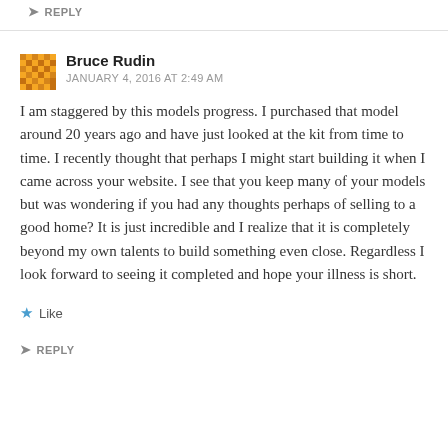REPLY
Bruce Rudin
JANUARY 4, 2016 AT 2:49 AM
I am staggered by this models progress. I purchased that model around 20 years ago and have just looked at the kit from time to time. I recently thought that perhaps I might start building it when I came across your website. I see that you keep many of your models but was wondering if you had any thoughts perhaps of selling to a good home? It is just incredible and I realize that it is completely beyond my own talents to build something even close. Regardless I look forward to seeing it completed and hope your illness is short.
Like
REPLY